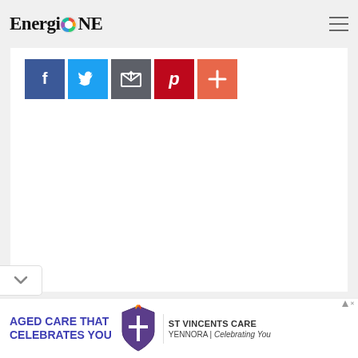[Figure (logo): EnergioNE logo with colored circular icon in the header]
[Figure (screenshot): Social media sharing buttons: Facebook (blue), Twitter (light blue), Email (dark grey), Pinterest (red), More/Plus (orange-red)]
[Figure (screenshot): Advertisement banner at bottom: 'AGED CARE THAT CELEBRATES YOU' with St Vincents Care Yennora logo and tagline 'Celebrating You']